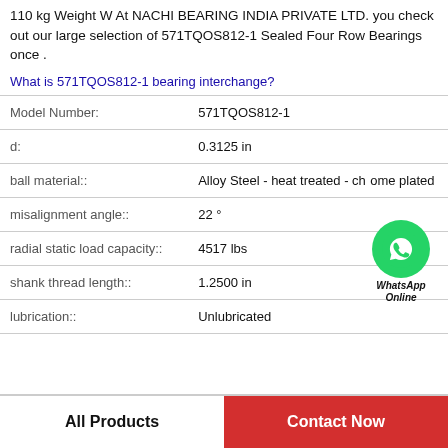110 kg Weight W At NACHI BEARING INDIA PRIVATE LTD. you check out our large selection of 571TQOS812-1 Sealed Four Row Bearings once .
What is 571TQOS812-1 bearing interchange?
| Property | Value |
| --- | --- |
| Model Number: | 571TQOS812-1 |
| d: | 0.3125 in |
| ball material:: | Alloy Steel - heat treated - chrome plated |
| misalignment angle:: | 22 ° |
| radial static load capacity:: | 4517 lbs |
| shank thread length:: | 1.2500 in |
| lubrication:: | Unlubricated |
[Figure (illustration): WhatsApp Online contact bubble with green circle phone icon and italic text 'WhatsApp Online']
All Products
Contact Now